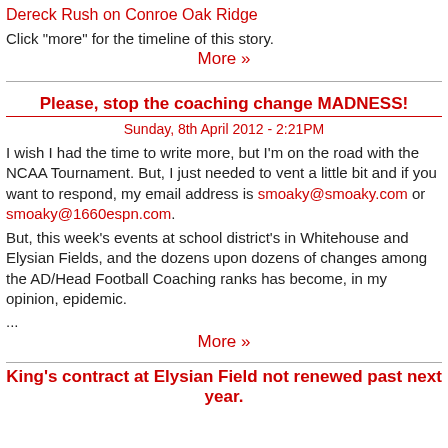Dereck Rush on Conroe Oak Ridge
Click "more" for the timeline of this story.
More »
Please, stop the coaching change MADNESS!
Sunday, 8th April 2012 - 2:21PM
I wish I had the time to write more, but I'm on the road with the NCAA Tournament. But, I just needed to vent a little bit and if you want to respond, my email address is smoaky@smoaky.com or smoaky@1660espn.com.
But, this week's events at school district's in Whitehouse and Elysian Fields, and the dozens upon dozens of changes among the AD/Head Football Coaching ranks has become, in my opinion, epidemic.
...
More »
King's contract at Elysian Field not renewed past next year.